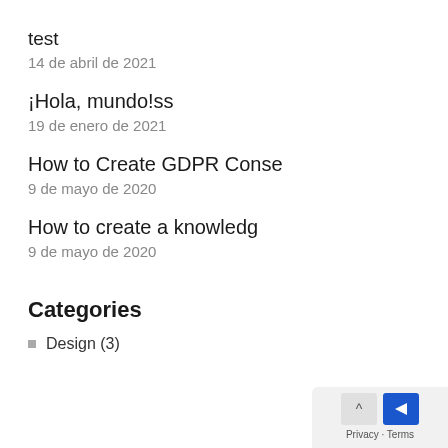test
14 de abril de 2021
¡Hola, mundo!ss
19 de enero de 2021
How to Create GDPR Conse
9 de mayo de 2020
How to create a knowledg
9 de mayo de 2020
Categories
Design (3)